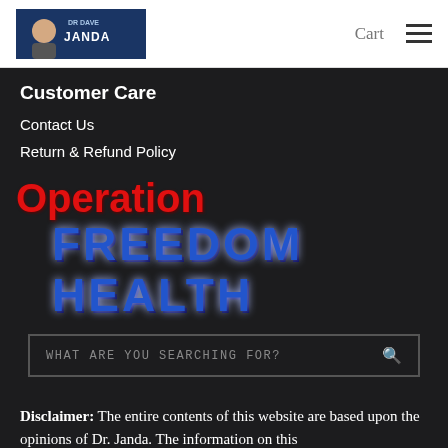[Figure (logo): Dr. Dave Janda logo with photo and blue background]
Cart
Customer Care
Contact Us
Return & Refund Policy
[Figure (logo): Operation FREEDOM HEALTH banner logo with red 'Operation' text and large blue 'FREEDOM HEALTH' text on dark background]
[Figure (screenshot): Search box with placeholder text 'WHAT ARE YOU SEARCHING FOR?' and search icon]
Disclaimer: The entire contents of this website are based upon the opinions of Dr. Janda. The information on this